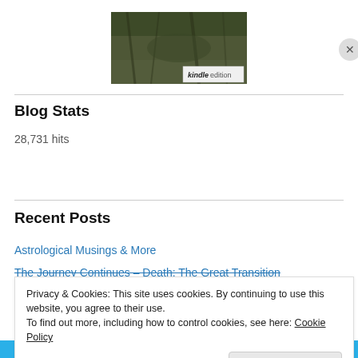[Figure (photo): Book cover thumbnail showing nature/forest imagery with a 'kindle edition' badge in the bottom right corner]
Blog Stats
28,731 hits
Recent Posts
Astrological Musings & More
The Journey Continues – Death: The Great Transition
Privacy & Cookies: This site uses cookies. By continuing to use this website, you agree to their use.
To find out more, including how to control cookies, see here: Cookie Policy
Close and accept